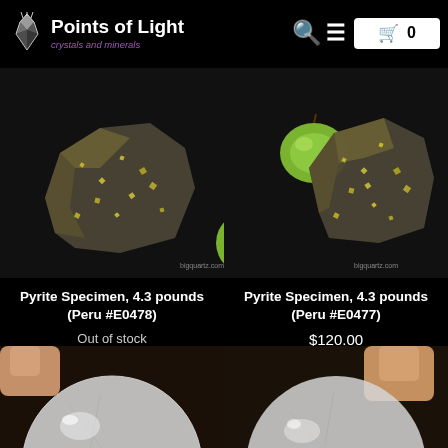Points of Light — crystals and minerals
[Figure (photo): Pyrite mineral specimen with green apple for scale, on black background, bigquartz.com watermark]
Pyrite Specimen, 4.3 pounds (Peru #E0478)
Out of stock
[Figure (photo): Pyrite mineral specimen with green apple for scale, on black background, bigquartz.com watermark]
Pyrite Specimen, 4.3 pounds (Peru #E0477)
$120.00
[Figure (photo): Clear crystal sphere held in hand, partially visible at bottom of page]
[Figure (photo): Clear crystal sphere held in hand, partially visible at bottom of page]